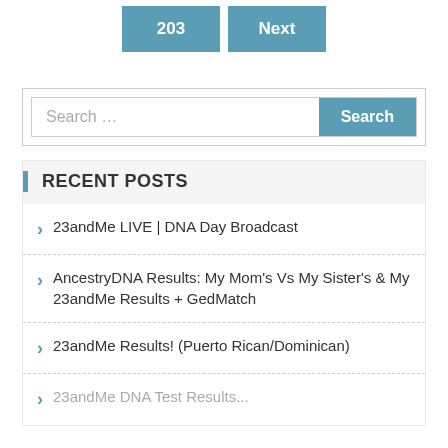[Figure (screenshot): Navigation buttons showing '203' and 'Next' in teal/blue color]
[Figure (screenshot): Search bar with placeholder text 'Search ...' and a teal 'Search' button]
RECENT POSTS
23andMe LIVE | DNA Day Broadcast
AncestryDNA Results: My Mom's Vs My Sister's & My 23andMe Results + GedMatch
23andMe Results! (Puerto Rican/Dominican)
23andMe DNA Test Results...